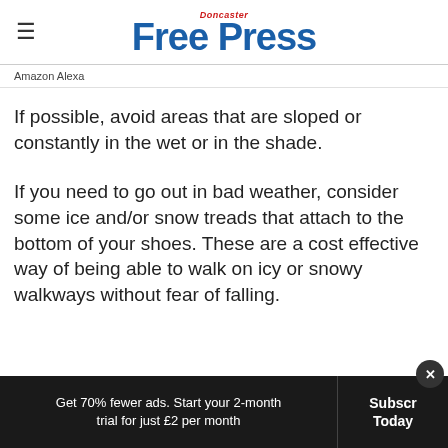Doncaster Free Press
Amazon Alexa
If possible, avoid areas that are sloped or constantly in the wet or in the shade.
If you need to go out in bad weather, consider some ice and/or snow treads that attach to the bottom of your shoes. These are a cost effective way of being able to walk on icy or snowy walkways without fear of falling.
Get 70% fewer ads. Start your 2-month trial for just £2 per month
Subscribe Today